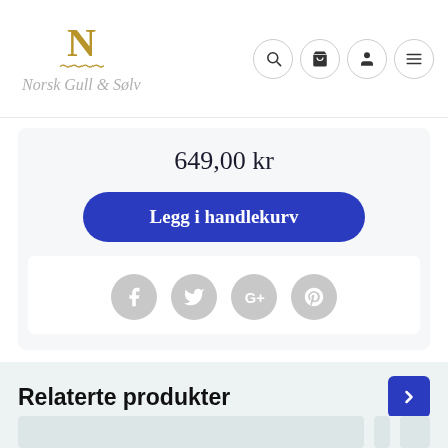[Figure (logo): Norsk Gull & Sølv logo with stylized N in gold and cursive script brand name in grey]
[Figure (screenshot): Navigation icons: search, cart, account, hamburger menu — each in circular bordered buttons]
649,00 kr
Legg i handlekurv
[Figure (illustration): Social sharing icons: Facebook, Twitter, Google+, Pinterest — circular grey buttons]
Relaterte produkter